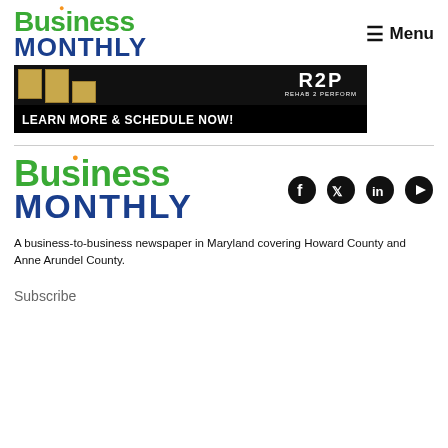Business Monthly | Menu
[Figure (illustration): Advertisement banner for Rehab 2 Perform (R2P) with text: LEARN MORE & SCHEDULE NOW!]
Business Monthly
[Figure (illustration): Social media icons: Facebook, Twitter, LinkedIn, YouTube]
A business-to-business newspaper in Maryland covering Howard County and Anne Arundel County.
Subscribe